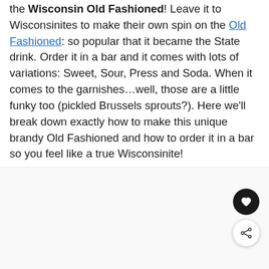the Wisconsin Old Fashioned! Leave it to Wisconsinites to make their own spin on the Old Fashioned: so popular that it became the State drink. Order it in a bar and it comes with lots of variations: Sweet, Sour, Press and Soda. When it comes to the garnishes…well, those are a little funky too (pickled Brussels sprouts?). Here we'll break down exactly how to make this unique brandy Old Fashioned and how to order it in a bar so you feel like a true Wisconsinite!
[Figure (other): White/light grey area below text, with a heart button (dark circle) and a share button (white circle with share icon) in the bottom right corner.]